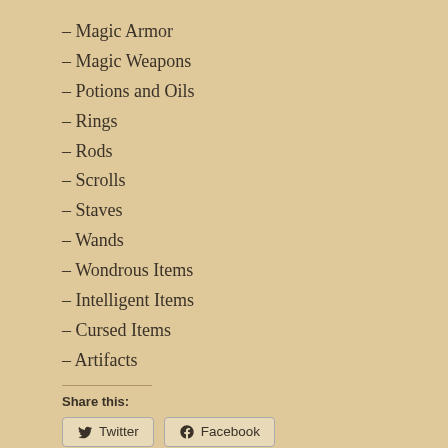– Magic Armor
– Magic Weapons
– Potions and Oils
– Rings
– Rods
– Scrolls
– Staves
– Wands
– Wondrous Items
– Intelligent Items
– Cursed Items
– Artifacts
Share this:
Twitter  Facebook